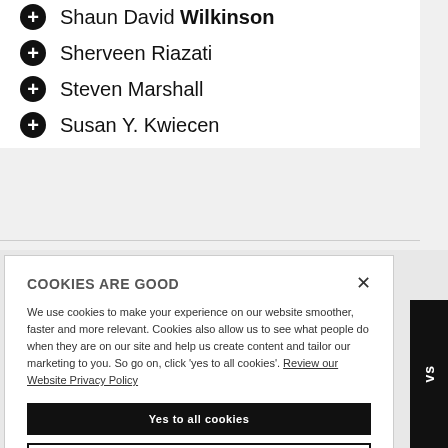Shaun David Wilkinson
Sherveen Riazati
Steven Marshall
Susan Y. Kwiecen
COOKIES ARE GOOD

We use cookies to make your experience on our website smoother, faster and more relevant. Cookies also allow us to see what people do when they are on our site and help us create content and tailor our marketing to you. So go on, click 'yes to all cookies'. Review our Website Privacy Policy
Yes to all cookies
Let me choose